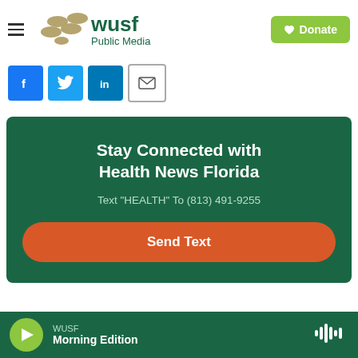[Figure (logo): WUSF Public Media logo with hamburger menu icon]
[Figure (other): Green Donate button with heart icon]
[Figure (other): Social share buttons: Facebook, Twitter, LinkedIn, Email]
Stay Connected with Health News Florida
Text "HEALTH" To (813) 491-9255
Send Text
WUSF Morning Edition